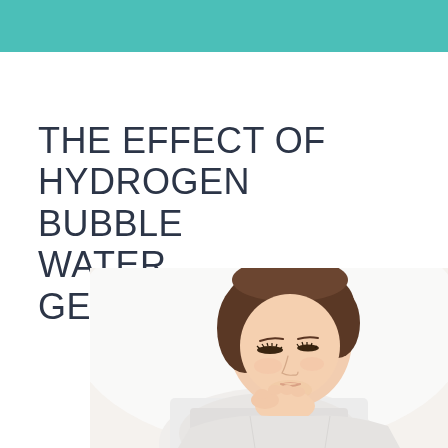THE EFFECT OF HYDROGEN BUBBLE WATER GENERATOR
[Figure (photo): Young Asian woman in white clothing looking downward with hands near her chin, soft natural lighting, white background]